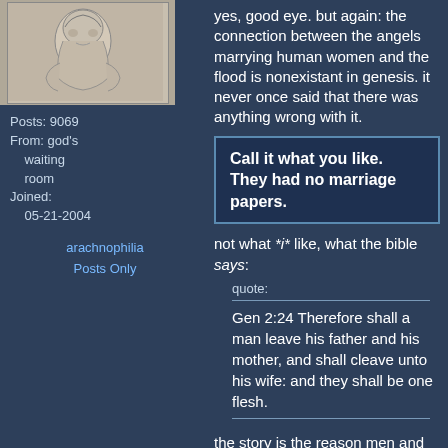[Figure (illustration): Avatar/profile image sketch of a person]
yes, good eye. but again: the connection between the angels marrying human women and the flood is nonexistant in genesis. it never once said that there was anything wrong with it.
Posts: 9069
From: god's waiting room
Joined: 05-21-2004
arachnophilia
Posts Only
Call it what you like. They had no marriage papers.
not what *i* like, what the bible says:
quote:
Gen 2:24 Therefore shall a man leave his father and his mother, and shall cleave unto his wife: and they shall be one flesh.
the story is the reason men and women get married. i've even heard this verse read at a wedding. the very next verse says: